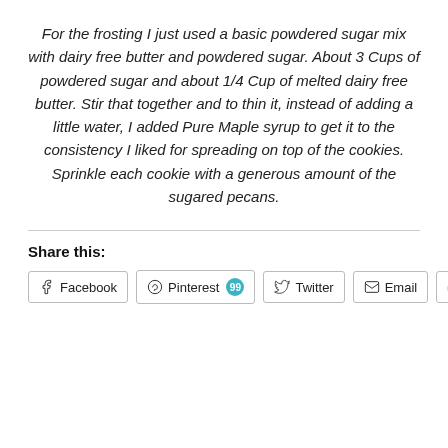For the frosting I just used a basic powdered sugar mix with dairy free butter and powdered sugar. About 3 Cups of powdered sugar and about 1/4 Cup of melted dairy free butter. Stir that together and to thin it, instead of adding a little water, I added Pure Maple syrup to get it to the consistency I liked for spreading on top of the cookies. Sprinkle each cookie with a generous amount of the sugared pecans.
Share this:
Facebook  Pinterest 99  Twitter  Email  Print